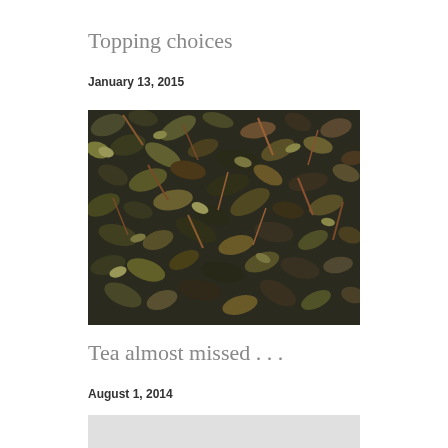Topping choices
January 13, 2015
[Figure (photo): Close-up photograph of dried, rolled tea leaves in dark green, brown, and olive tones, showing a textured mass of curled and twisted leaves.]
Tea almost missed . . .
August 1, 2014
[Figure (photo): Partially visible light gray image, cropped at the bottom of the page.]